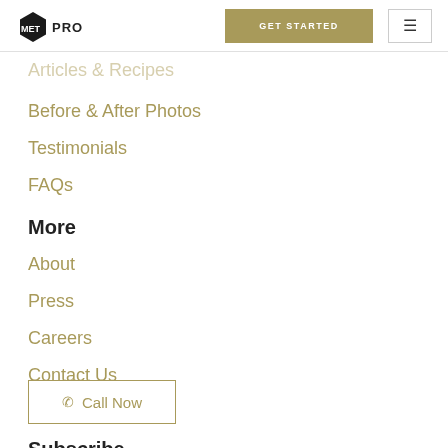METPRO | GET STARTED
Articles & Recipes
Before & After Photos
Testimonials
FAQs
More
About
Press
Careers
Contact Us
Call Now
Subscribe